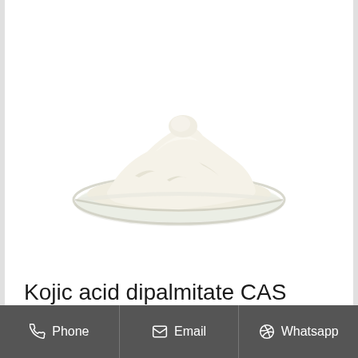[Figure (photo): White/off-white powder in a clear glass petri dish, photographed on a white background, viewed from a slightly elevated angle. The powder is piled up in the center of the dish.]
Kojic acid dipalmitate CAS 79725-98-7 - SRGY CHEM
Phone   Email   Whatsapp